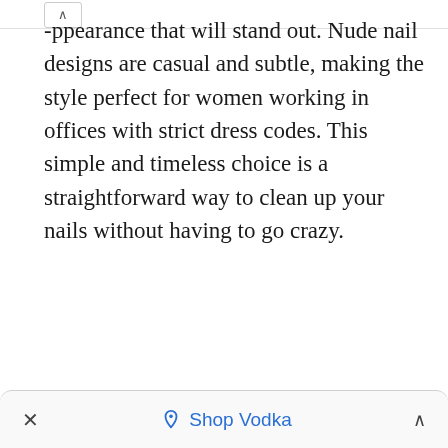-ppearance that will stand out. Nude nail designs are casual and subtle, making the style perfect for women working in offices with strict dress codes. This simple and timeless choice is a straightforward way to clean up your nails without having to go crazy.
× ♢ Shop Vodka ^